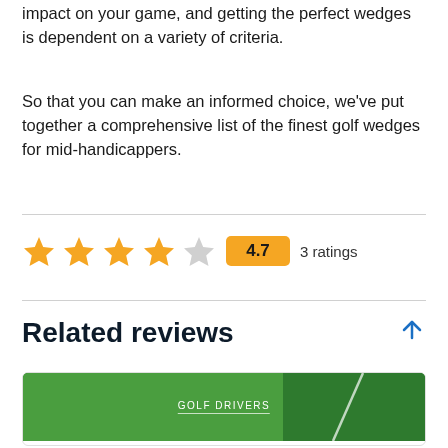impact on your game, and getting the perfect wedges is dependent on a variety of criteria.
So that you can make an informed choice, we've put together a comprehensive list of the finest golf wedges for mid-handicappers.
[Figure (other): Star rating widget showing 4 filled stars and 1 empty star, rating badge showing 4.7, and '3 ratings' text]
Related reviews
[Figure (photo): Card with green golf course image labeled GOLF DRIVERS with a golf club visible]